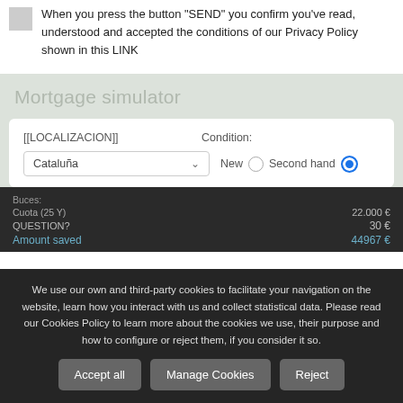When you press the button "SEND" you confirm you've read, understood and accepted the conditions of our Privacy Policy shown in this LINK
Mortgage simulator
[[LOCALIZACION]]    Condition:
Cataluña   New   Second hand
We use our own and third-party cookies to facilitate your navigation on the website, learn how you interact with us and collect statistical data. Please read our Cookies Policy to learn more about the cookies we use, their purpose and how to configure or reject them, if you consider it so.
Accept all   Manage Cookies   Reject
QUESTION?
Amount saved